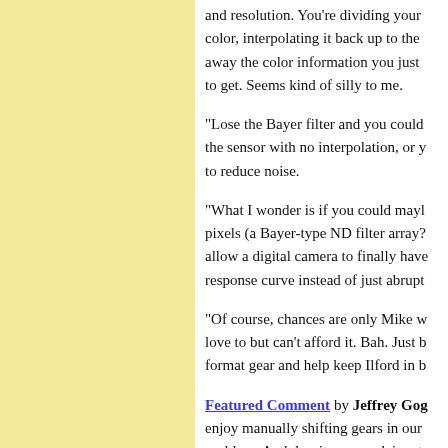and resolution. You're dividing your color, interpolating it back up to the away the color information you just to get. Seems kind of silly to me.
"Lose the Bayer filter and you could the sensor with no interpolation, or y to reduce noise.
"What I wonder is if you could mayl pixels (a Bayer-type ND filter array? allow a digital camera to finally have response curve instead of just abrupt
"Of course, chances are only Mike w love to but can't afford it. Bah. Just b format gear and help keep Ilford in b
Featured Comment by Jeffrey Gog enjoy manually shifting gears in our problem. And despite many claims t